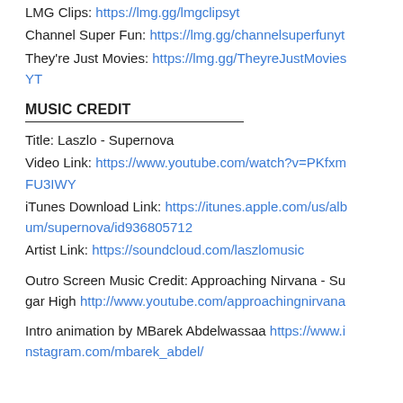LMG Clips: https://lmg.gg/lmgclipsyt
Channel Super Fun: https://lmg.gg/channelsuperfunyt
They're Just Movies: https://lmg.gg/TheyreJustMoviesYT
MUSIC CREDIT
Title: Laszlo - Supernova
Video Link: https://www.youtube.com/watch?v=PKfxmFU3IWY
iTunes Download Link: https://itunes.apple.com/us/album/supernova/id936805712
Artist Link: https://soundcloud.com/laszlomusic
Outro Screen Music Credit: Approaching Nirvana - Sugar High http://www.youtube.com/approachingnirvana
Intro animation by MBarek Abdelwassaa https://www.instagram.com/mbarek_abdel/